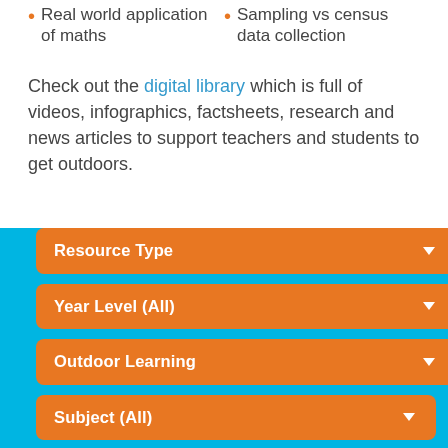Real world application of maths
Sampling vs census data collection
Check out the digital library which is full of videos, infographics, factsheets, research and news articles to support teachers and students to get outdoors.
[Figure (screenshot): Blue section with four orange dropdown filter buttons: Resource Type, Year Level (All), Outdoor Learning, Subject (All)]